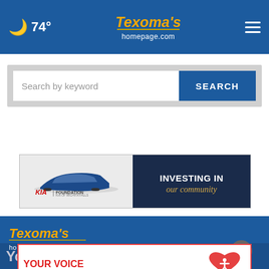🌙 74° — Texoma's Homepage.com
[Figure (screenshot): Search bar with 'Search by keyword' placeholder and blue SEARCH button]
[Figure (illustration): Kia Foundation advertisement banner — car image on left, 'INVESTING IN our community' text on dark navy background on right]
[Figure (logo): Texoma's Homepage.com logo in footer]
[Figure (illustration): Child Advocates CASA of Red River ad — 'YOUR VOICE CAN BE A CHILD'S ONLY CHANCE.' with CASA logo]
You